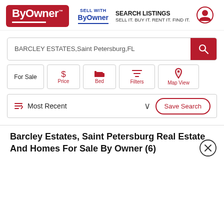[Figure (logo): ByOwner logo in red rounded rectangle with white text]
SELL WITH ByOwner | SEARCH LISTINGS SELL IT. BUY IT. RENT IT. FIND IT.
BARCLEY ESTATES,Saint Petersburg,FL
For Sale | Price | Bed | Filters | Map View
Most Recent
Save Search
Barcley Estates, Saint Petersburg Real Estate And Homes For Sale By Owner (6)